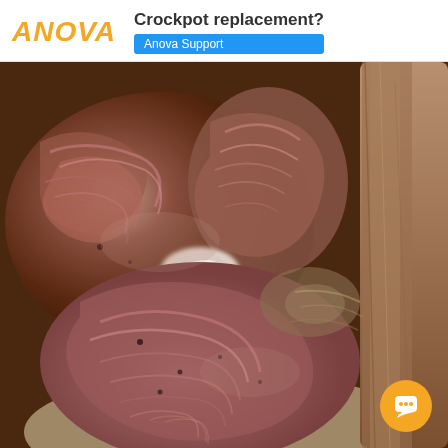ANOVA  Crockpot replacement?  Anova Support
[Figure (photo): Close-up photo of cooked pulled meat (likely pork or lamb) showing pink/reddish shredded muscle fibers attached to bones, on a light background. The meat appears to be slow-cooked and is falling off the bone.]